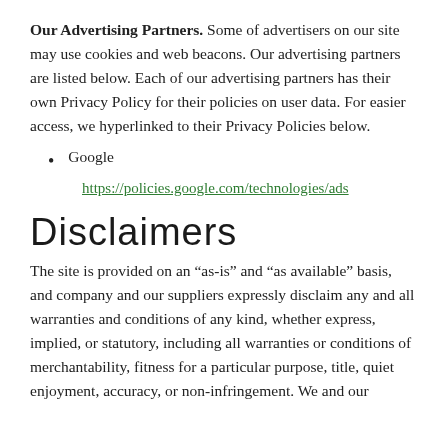Our Advertising Partners. Some of advertisers on our site may use cookies and web beacons. Our advertising partners are listed below. Each of our advertising partners has their own Privacy Policy for their policies on user data. For easier access, we hyperlinked to their Privacy Policies below.
Google
https://policies.google.com/technologies/ads
Disclaimers
The site is provided on an “as-is” and “as available” basis, and company and our suppliers expressly disclaim any and all warranties and conditions of any kind, whether express, implied, or statutory, including all warranties or conditions of merchantability, fitness for a particular purpose, title, quiet enjoyment, accuracy, or non-infringement. We and our